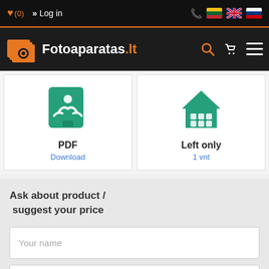(0) >> Log in
[Figure (logo): Fotoaparatas.lt logo with orange camera icon on dark background]
[Figure (illustration): PDF download icon - teal document icon with PDF label and Download link]
[Figure (illustration): Left only stock icon - teal house/store icon with Left only label and 1 vnt quantity]
Ask about product / suggest your price
Your name
Your phone